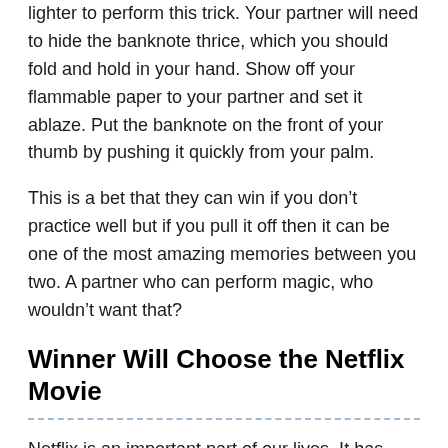lighter to perform this trick. Your partner will need to hide the banknote thrice, which you should fold and hold in your hand. Show off your flammable paper to your partner and set it ablaze. Put the banknote on the front of your thumb by pushing it quickly from your palm.
This is a bet that they can win if you don’t practice well but if you pull it off then it can be one of the most amazing memories between you two. A partner who can perform magic, who wouldn’t want that?
Winner Will Choose the Netflix Movie
Netflix is an important part of our lives. It has replaced the traditional TV and there might not be any couple who don’t Netflix and Chill, it is a great way to have fun and complete your bond. The best movies are